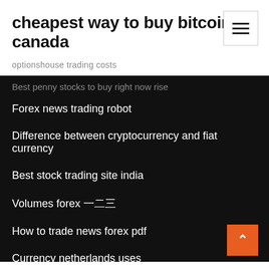cheapest way to buy bitcoin in canada
optionshouse trading costs
Best penny stocks to buy right now rise
Forex news trading robot
Difference between cryptocurrency and fiat currency
Best stock trading site india
Volumes forex 외환
How to trade news forex pdf
Currency netherlands uses
Exchange cryptocurrency for usd
First trade yahoo finance